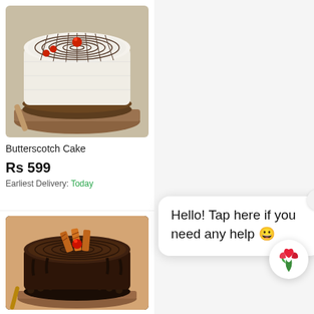[Figure (photo): Butterscotch cake with white and dark chocolate spiral pattern on top, red cherry in center, on a wooden board]
Butterscotch Cake
Rs 599
Earliest Delivery: Today
[Figure (photo): Chocolate Truffle cake with dark chocolate frosting, KitKat wafers and red cherry on top, on a wooden board]
Chocolate Truffle Cake
Hello! Tap here if you need any help 🙂
[Figure (logo): Flower/tulip logo icon for chat support button]